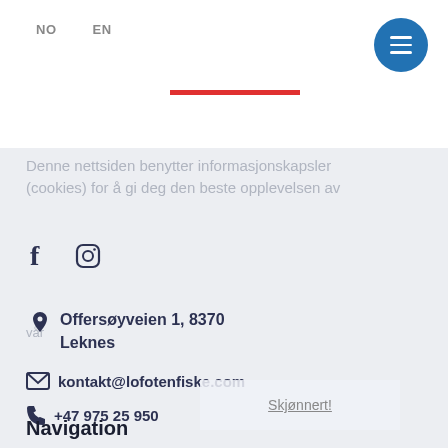NO  EN
[Figure (other): Blue circular menu/hamburger button icon]
[Figure (other): Red horizontal bar used as a decorative separator]
Denne nettsiden benytter informasjonskapsler (cookies) for å gi deg den beste opplevelsen av
[Figure (other): Facebook and Instagram social media icons]
vår
Offersøyveien 1, 8370
Leknes
kontakt@lofotenfiske.com
+47 975 25 950
Skjønnert!
Navigation